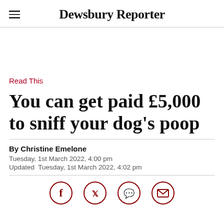Dewsbury Reporter
Read This
You can get paid £5,000 to sniff your dog's poop
By Christine Emelone
Tuesday, 1st March 2022, 4:00 pm
Updated Tuesday, 1st March 2022, 4:02 pm
[Figure (illustration): Social sharing icons: Facebook, Twitter, phone/comments, email — dark red circular icons at the bottom of the page]